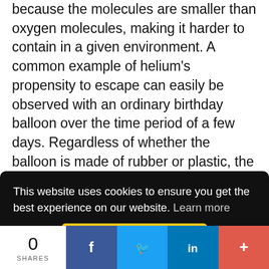because the molecules are smaller than oxygen molecules, making it harder to contain in a given environment. A common example of helium's propensity to escape can easily be observed with an ordinary birthday balloon over the time period of a few days. Regardless of whether the balloon is made of rubber or plastic, the helium molecules are able to pass through the retaining material unlike oxygen, which has larger molecules, making it more containable. The test revealed that even with surface
[Figure (screenshot): Cookie consent overlay banner with black background. Text reads: 'This website uses cookies to ensure you get the best experience on our website. Learn more' with a yellow 'Got it!' button.]
[Figure (screenshot): Social share bar at the bottom with 0 SHARES count, Facebook (blue), Twitter (light blue), LinkedIn (dark blue), and a plus/more button (red-orange).]